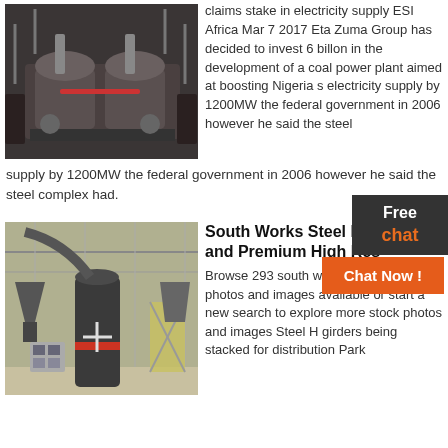[Figure (photo): Industrial machinery - coal power plant or steel mill equipment, dark metal components]
claims stake in electricity supply ESI Africa Mar 7 2017 Eta Zuma Group has decided to invest 6 billon in the development of a coal power plant aimed at boosting Nigeria s electricity supply by 1200MW the federal government in 2006 however he said the steel complex had.
[Figure (photo): Industrial facility interior - steel mill with large machinery, hoppers and conveyors inside a warehouse]
South Works Steel Mill Photos and Premium High Res Browse 293 south works steel mill stock photos and images available or start a new search to explore more stock photos and images Steel H girders being stacked for distribution Park